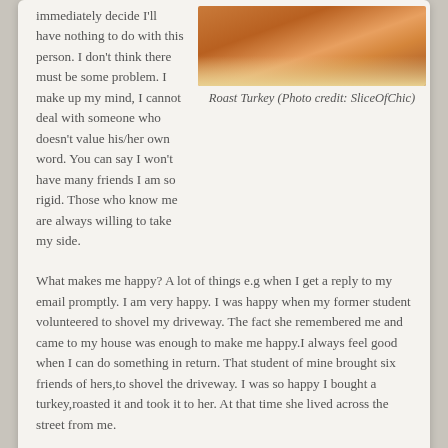immediately decide I'll have nothing to do with this person. I don't think there must be some problem. I make up my mind, I cannot deal with someone who doesn't value his/her own word. You can say I won't have many friends I am so rigid. Those who know me are always willing to take my side.
[Figure (photo): Photo of a roast turkey on a yellow plate]
Roast Turkey (Photo credit: SliceOfChic)
What makes me happy? A lot of things e.g when I get a reply to my email promptly. I am very happy. I was happy when my former student volunteered to shovel my driveway. The fact she remembered me and came to my house was enough to make me happy.I always feel good when I can do something in return. That student of mine brought six friends of hers,to shovel the driveway. I was so happy I bought a turkey,roasted it and took it to her. At that time she lived across the street from me.